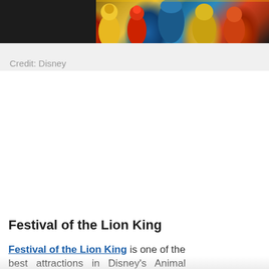[Figure (photo): Partial view of Disney performers in colorful costumes at Festival of the Lion King show]
Credit: Disney
Festival of the Lion King
Festival of the Lion King is one of the best attractions in Disney's Animal Kingdom, and performers bring the